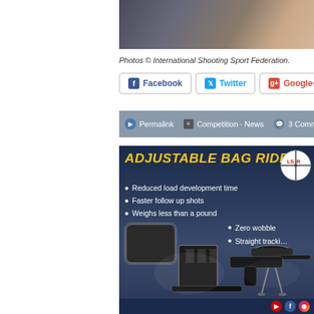[Figure (photo): Partial photo of a person, cropped at top of page]
Photos © International Shooting Sport Federation.
[Figure (screenshot): Social share buttons: Facebook, Twitter, Google+]
[Figure (screenshot): Gray navigation bar with Permalink, Competition, News, 3 Comments]
[Figure (infographic): Advertisement for Adjustable Bag Rider product. Features: Reduced load development time, Faster follow up shots, Weighs less than a pound, Zero wobble, Straight tracking. Shows product images and LSR logo.]